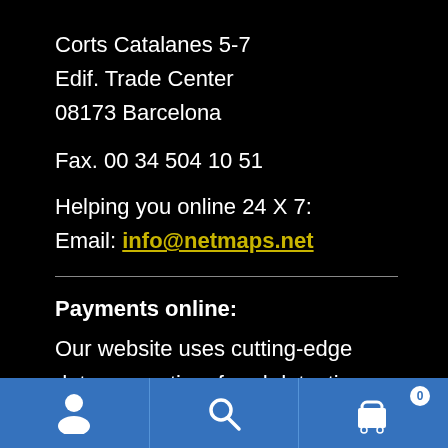Corts Catalanes 5-7
Edif. Trade Center
08173 Barcelona
Fax. 00 34 504 10 51
Helping you online 24 X 7:
Email: info@netmaps.net
Payments online:
Our website uses cutting-edge data encryption, fraud detection tools and all kinds of other advanced techniques to improve security. This is why you will feel comfortable paying us online.
Navigation footer with user, search, and cart icons